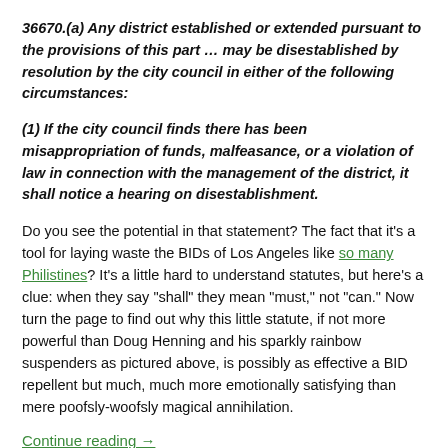36670.(a) Any district established or extended pursuant to the provisions of this part ... may be disestablished by resolution by the city council in either of the following circumstances:
(1) If the city council finds there has been misappropriation of funds, malfeasance, or a violation of law in connection with the management of the district, it shall notice a hearing on disestablishment.
Do you see the potential in that statement? The fact that it’s a tool for laying waste the BIDs of Los Angeles like so many Philistines? It’s a little hard to understand statutes, but here’s a clue: when they say “shall” they mean “must,” not “can.” Now turn the page to find out why this little statute, if not more powerful than Doug Henning and his sparkly rainbow suspenders as pictured above, is possibly as effective a BID repellent but much, much more emotionally satisfying than mere poofsly-woofsly magical annihilation.
Continue reading →